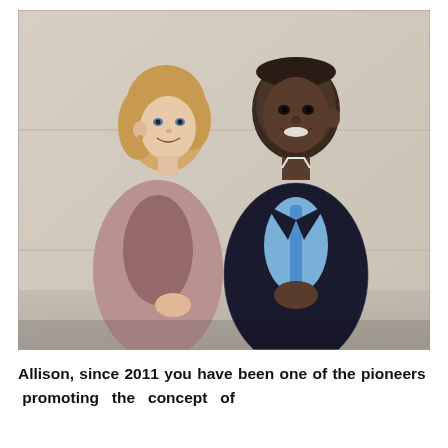[Figure (photo): Two people standing indoors against a light stone/marble wall. On the left is a woman with blonde hair wearing a mauve/rose knit cardigan over a dark top. On the right is a man in a dark pinstripe suit with a light blue shirt and blue lanyard/tie, smiling at the camera. The woman is turned slightly looking toward the camera.]
Allison, since 2011 you have been one of the pioneers promoting the concept of